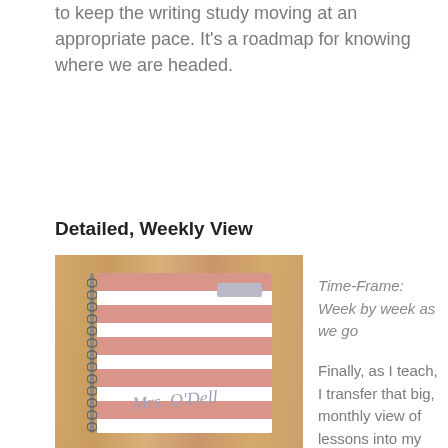to keep the writing study moving at an appropriate pace. It's a roadmap for knowing where we are headed.
Detailed, Weekly View
[Figure (photo): A photo of a spiral-bound planner/notebook with pink and white horizontal stripes on the cover, labeled 'Mrs. O'Dell' in cursive script, lying on a wooden surface.]
Time-Frame: Week by week as we go
Finally, as I teach, I transfer that big, monthly view of lessons into my real, daily lesson plan book. (Further details...